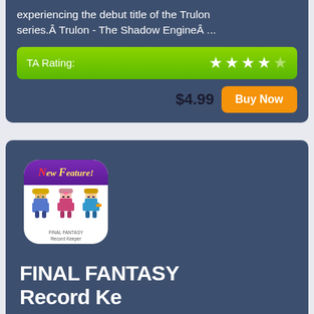experiencing the debut title of the Trulon series.Â Trulon - The Shadow EngineÂ ...
TA Rating: ★★★★☆
$4.99
Buy Now
[Figure (illustration): Final Fantasy Record Keeper app icon showing three pixel-art characters and a purple 'New Feature!' banner]
FINAL FANTASY